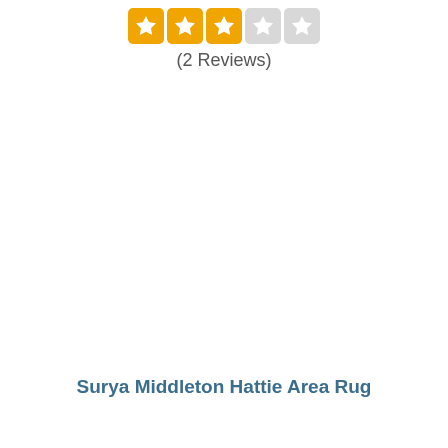[Figure (other): Star rating showing 3.5 out of 5 stars with orange filled stars and grey empty stars]
(2 Reviews)
Surya Middleton Hattie Area Rug